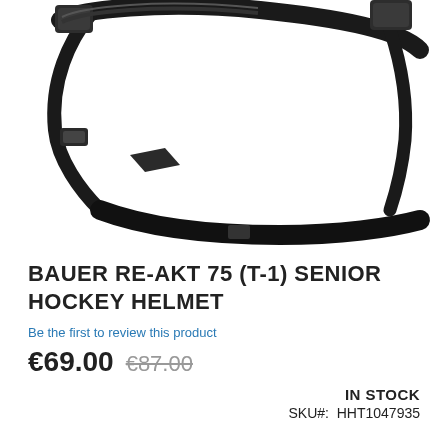[Figure (photo): Close-up photo of a Bauer RE-AKT 75 hockey helmet showing the chin strap and adjustment hardware against a white background]
BAUER RE-AKT 75 (T-1) SENIOR HOCKEY HELMET
Be the first to review this product
€69.00  €87.00
IN STOCK
SKU#:  HHT1047935